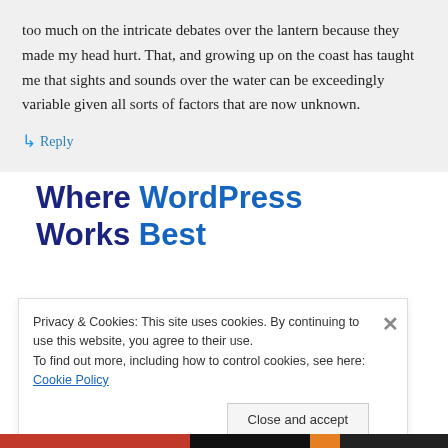too much on the intricate debates over the lantern because they made my head hurt. That, and growing up on the coast has taught me that sights and sounds over the water can be exceedingly variable given all sorts of factors that are now unknown.
↳ Reply
Where WordPress Works Best
Privacy & Cookies: This site uses cookies. By continuing to use this website, you agree to their use.
To find out more, including how to control cookies, see here: Cookie Policy
Close and accept